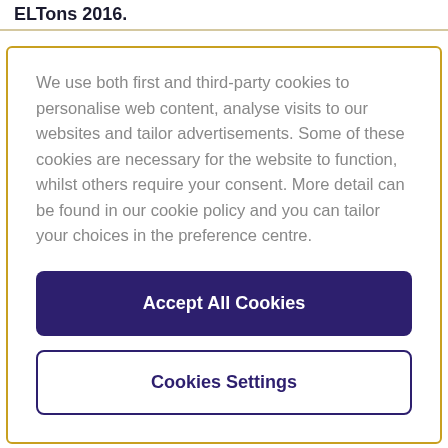ELTons 2016.
We use both first and third-party cookies to personalise web content, analyse visits to our websites and tailor advertisements. Some of these cookies are necessary for the website to function, whilst others require your consent. More detail can be found in our cookie policy and you can tailor your choices in the preference centre.
Accept All Cookies
Cookies Settings